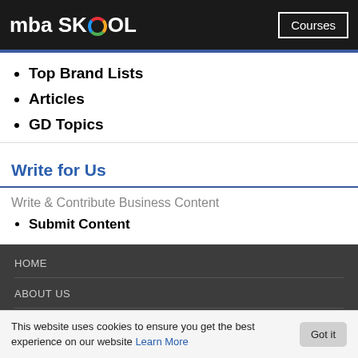mba SKOOL | Courses
Top Brand Lists
Articles
GD Topics
Write for Us
Write & Contribute Business Content
Submit Content
HOME
ABOUT US
CONTACT US
TERMS
This website uses cookies to ensure you get the best experience on our website Learn More  Got it